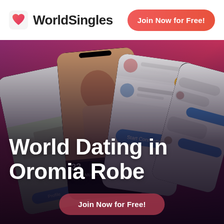[Figure (logo): WorldSingles logo: red/pink heart icon followed by bold text 'WorldSingles']
Join Now for Free!
[Figure (photo): Collage of mobile app screenshots showing dating profiles, chat interfaces, and a map view on a purple/pink gradient background]
World Dating in Oromia Robe
Join Now for Free!